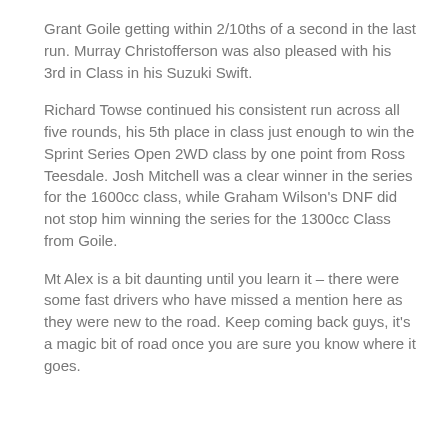Grant Goile getting within 2/10ths of a second in the last run. Murray Christofferson was also pleased with his 3rd in Class in his Suzuki Swift.
Richard Towse continued his consistent run across all five rounds, his 5th place in class just enough to win the Sprint Series Open 2WD class by one point from Ross Teesdale. Josh Mitchell was a clear winner in the series for the 1600cc class, while Graham Wilson's DNF did not stop him winning the series for the 1300cc Class from Goile.
Mt Alex is a bit daunting until you learn it – there were some fast drivers who have missed a mention here as they were new to the road. Keep coming back guys, it's a magic bit of road once you are sure you know where it goes.